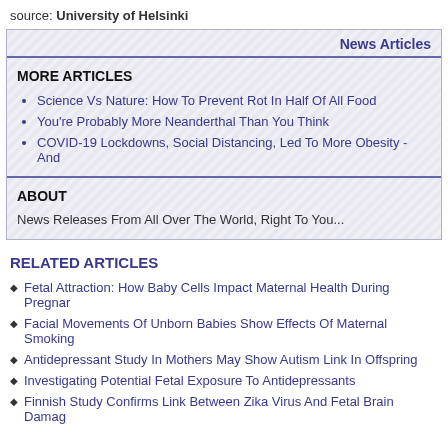source: University of Helsinki
News Articles
MORE ARTICLES
Science Vs Nature: How To Prevent Rot In Half Of All Food
You're Probably More Neanderthal Than You Think
COVID-19 Lockdowns, Social Distancing, Led To More Obesity - And
ABOUT
News Releases From All Over The World, Right To You...
RELATED ARTICLES
Fetal Attraction: How Baby Cells Impact Maternal Health During Pregnar
Facial Movements Of Unborn Babies Show Effects Of Maternal Smoking
Antidepressant Study In Mothers May Show Autism Link In Offspring
Investigating Potential Fetal Exposure To Antidepressants
Finnish Study Confirms Link Between Zika Virus And Fetal Brain Damag